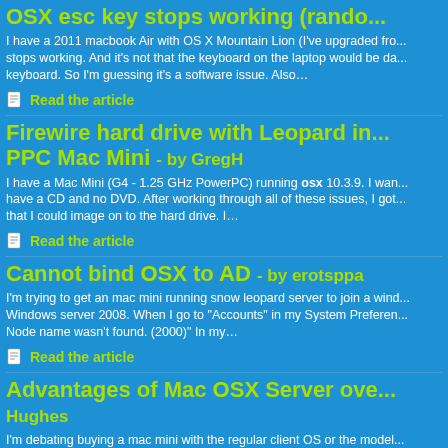OSX esc key stops working (rando...
I have a 2011 macbook Air with OS X Mountain Lion (I've upgraded fro... stops working. And it's not that the keyboard on the laptop would be da... keyboard. So I'm guessing it's a software issue. Also…
Read the article
Firewire hard drive with Leopard in... PPC Mac Mini - by GregH
I have a Mac Mini (G4 - 1.25 GHz PowerPC) running osx 10.3.9. I wan... have a CD and no DVD. After working through all of these issues, I got... that I could image on to the hard drive. I…
Read the article
Cannot bind OSX to AD - by erotsppa
I'm trying to get an mac mini running snow leopard server to join a wind... Windows server 2008. When I go to "Accounts" in my System Preferen... Node name wasn't found. (2000)" In my…
Read the article
Advantages of Mac OSX Server ove... Hughes
I'm debating buying a mac mini with the regular client OS or the model... server. Are there any advantages for such a use with the server os?
Read the article
Upgrading XCode on mac osx le...